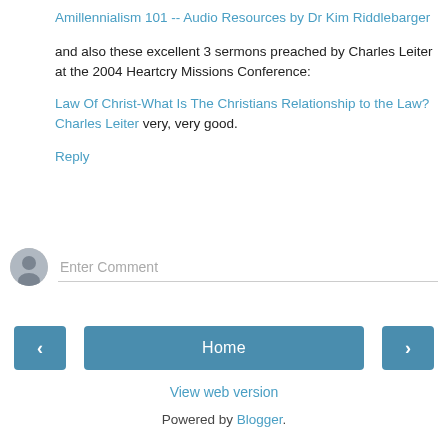Amillennialism 101 -- Audio Resources by Dr Kim Riddlebarger
and also these excellent 3 sermons preached by Charles Leiter at the 2004 Heartcry Missions Conference:
Law Of Christ-What Is The Christians Relationship to the Law? Charles Leiter very, very good.
Reply
Enter Comment
Home
View web version
Powered by Blogger.